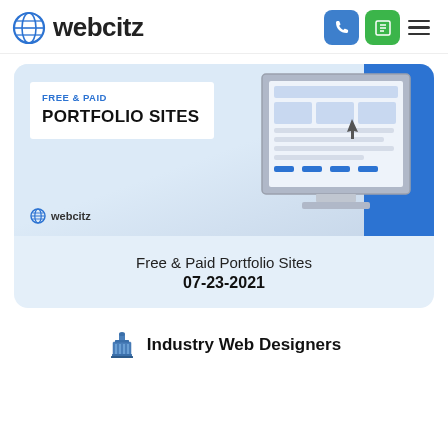webcitz
[Figure (screenshot): Webcitz branded thumbnail showing 'FREE & PAID PORTFOLIO SITES' text with monitor illustration and webcitz logo]
Free & Paid Portfolio Sites
07-23-2021
Industry Web Designers